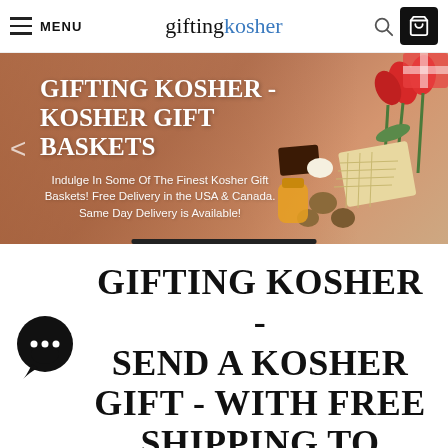MENU  gifting kosher
[Figure (screenshot): Hero banner with warm terracotta background, food items (matzah, walnuts, tulips, honey) on right side, title 'GIFTING KOSHER - KOSHER GIFT BASKETS' and subtitle text]
GIFTING KOSHER - SEND A KOSHER GIFT - WITH FREE SHIPPING TO AUBURN, MAINE
At Gifting Kosher, we place the utmost...